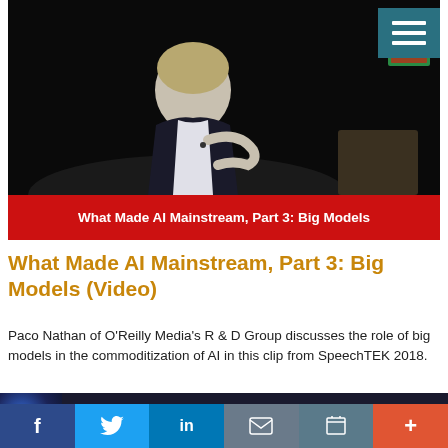[Figure (screenshot): Video thumbnail showing a man in a dark suit speaking at a conference/lecture, dark background, with a red title bar reading 'What Made AI Mainstream, Part 3: Big Models' and a teal menu icon in top right corner.]
What Made AI Mainstream, Part 3: Big Models (Video)
Paco Nathan of O'Reilly Media's R & D Group discusses the role of big models in the commoditization of AI in this clip from SpeechTEK 2018.
[Figure (screenshot): Advertisement banner: dark background, brain illustration on left, yellow bold text 'This is where AI and machine learning come alive!', Speech Technology magazine logo on right.]
f  Twitter  in  mail  print  +